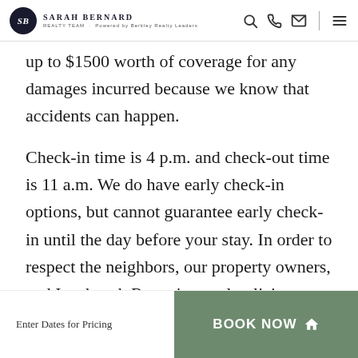Sarah Bernard Realty Team
up to $1500 worth of coverage for any damages incurred because we know that accidents can happen.
Check-in time is 4 p.m. and check-out time is 11 a.m. We do have early check-in options, but cannot guarantee early check-in until the day before your stay. In order to respect the neighbors, our property owners, and Innsbrook Resort's rental policies, we do not allow large events or gatherings at our chalets (typically 10-
Enter Dates for Pricing  BOOK NOW